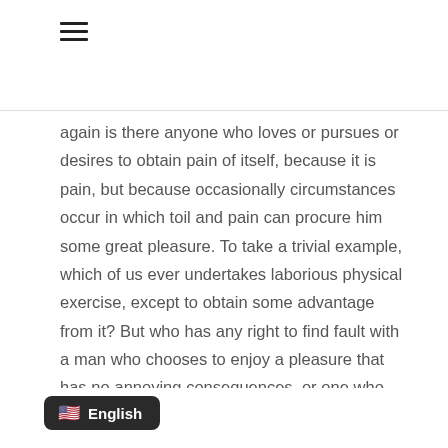☰
again is there anyone who loves or pursues or desires to obtain pain of itself, because it is pain, but because occasionally circumstances occur in which toil and pain can procure him some great pleasure. To take a trivial example, which of us ever undertakes laborious physical exercise, except to obtain some advantage from it? But who has any right to find fault with a man who chooses to enjoy a pleasure that has no annoying consequences, or one who avoids a pain that produces no resultant pleasure? On the other hand, we denounce with righteous indignation and dislike men who are so beguiled and demoralized by the charms of pleasure of the moment, so blinded by desire, that they cannot
English